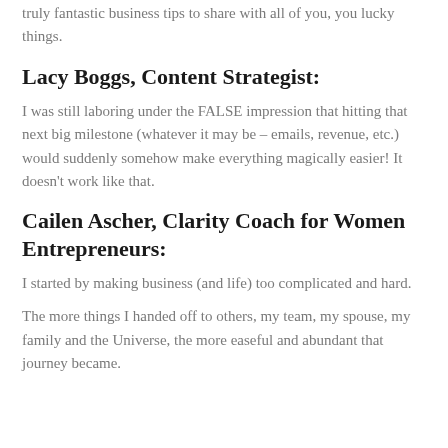truly fantastic business tips to share with all of you, you lucky things.
Lacy Boggs, Content Strategist:
I was still laboring under the FALSE impression that hitting that next big milestone (whatever it may be – emails, revenue, etc.) would suddenly somehow make everything magically easier!  It doesn't work like that.
Cailen Ascher, Clarity Coach for Women Entrepreneurs:
I started by making business (and life) too complicated and hard.
The more things I handed off to others, my team, my spouse, my family and the Universe, the more easeful and abundant that journey became.